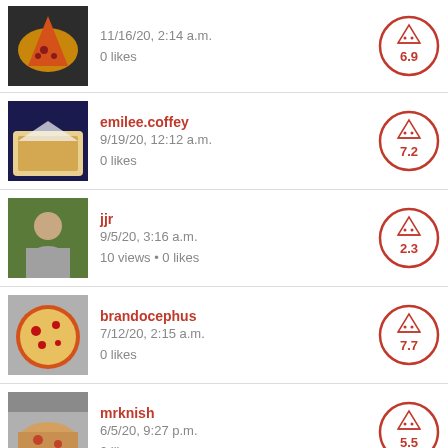11/16/20, 2:14 a.m. | 0 likes | score: 6.9
emilee.coffey | 9/19/20, 12:12 a.m. | 0 likes | score: 7.2
jjr | 9/5/20, 3:16 a.m. | 10 views • 0 likes | score: 2.3
brandocephus | 7/12/20, 2:15 a.m. | 0 likes | score: 7.7
mrknish | 6/5/20, 9:27 p.m. | 0 likes | score: 5.5